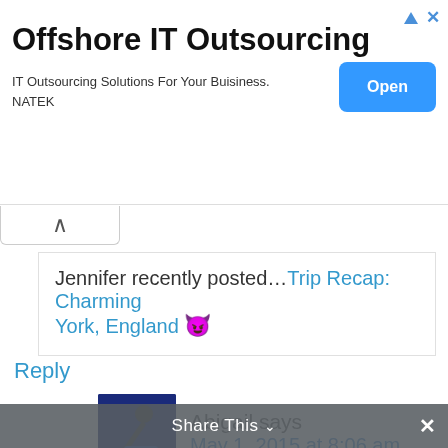[Figure (other): Advertisement banner for Offshore IT Outsourcing by NATEK with an Open button]
Jennifer recently posted...Trip Recap: Charming York, England 😈
Reply
Abigail says
May 1, 2015 at 8:06 am
Yeah, we are fortunate to have bought a foreclosure in Phoenix a year or so before the housing market started rebounding in earnest.
Share This